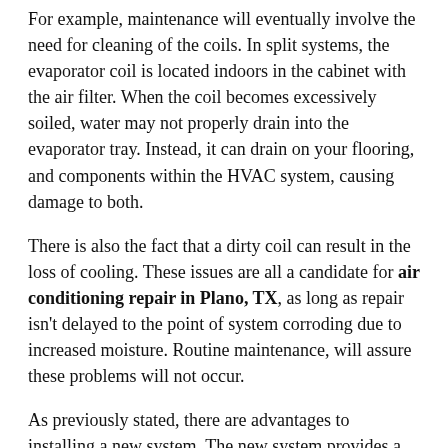For example, maintenance will eventually involve the need for cleaning of the coils. In split systems, the evaporator coil is located indoors in the cabinet with the air filter. When the coil becomes excessively soiled, water may not properly drain into the evaporator tray. Instead, it can drain on your flooring, and components within the HVAC system, causing damage to both.
There is also the fact that a dirty coil can result in the loss of cooling. These issues are all a candidate for air conditioning repair in Plano, TX, as long as repair isn't delayed to the point of system corroding due to increased moisture. Routine maintenance, will assure these problems will not occur.
As previously stated, there are advantages to installing a new system. The new system provides a longer warranty than air conditioning repair in Plano, TX. In addition, the contractor will have fewer air conditioning service calls with a new system. Proper repair requires a skilled technician to spend